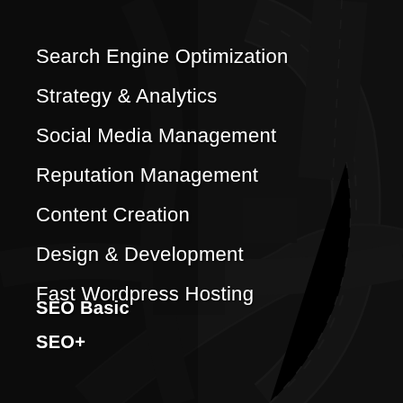[Figure (photo): Aerial view of a complex highway interchange with multiple curved ramps and lanes, dark overlay applied, viewed from directly above]
Search Engine Optimization
Strategy & Analytics
Social Media Management
Reputation Management
Content Creation
Design & Development
Fast Wordpress Hosting
SEO Basic
SEO+